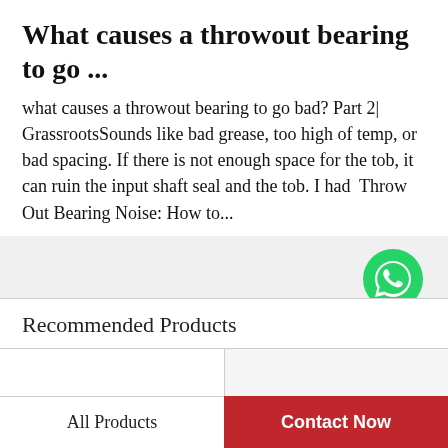What causes a throwout bearing to go ...
what causes a throwout bearing to go bad? Part 2| GrassrootsSounds like bad grease, too high of temp, or bad spacing. If there is not enough space for the tob, it can ruin the input shaft seal and the tob. I had  Throw Out Bearing Noise: How to...
[Figure (logo): WhatsApp green circle logo with phone icon and text 'WhatsApp Online']
Recommended Products
[Figure (photo): Dark gray cylindrical throwout bearing component, viewed from an angle showing the hollow interior with tan/cream colored bushing]
[Figure (photo): Metallic input shaft seal ring component, silver/chrome colored ring viewed from an angle]
All Products
Contact Now